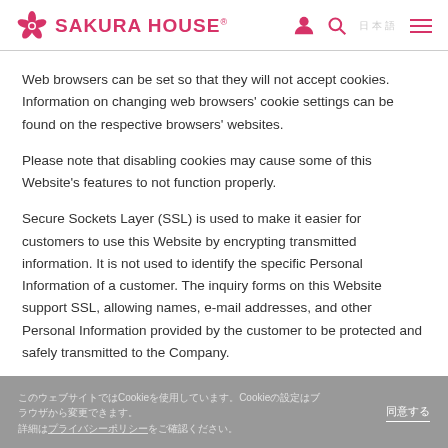SAKURA HOUSE
Web browsers can be set so that they will not accept cookies. Information on changing web browsers' cookie settings can be found on the respective browsers' websites.
Please note that disabling cookies may cause some of this Website's features to not function properly.
Secure Sockets Layer (SSL) is used to make it easier for customers to use this Website by encrypting transmitted information. It is not used to identify the specific Personal Information of a customer. The inquiry forms on this Website support SSL, allowing names, e-mail addresses, and other Personal Information provided by the customer to be protected and safely transmitted to the Company.
このウェブサイトではCookieを使用しています。Cookieの設定はブラウザから変更できます。